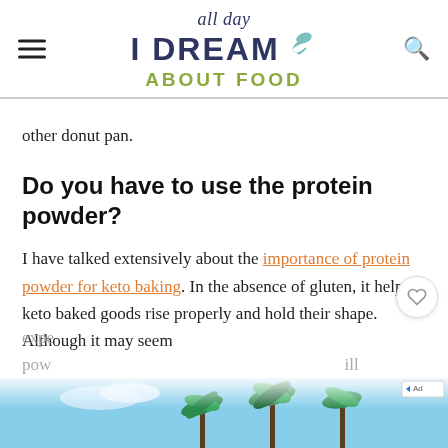all day I DREAM ABOUT FOOD
other donut pan.
Do you have to use the protein powder?
I have talked extensively about the importance of protein powder for keto baking. In the absence of gluten, it helps keto baked goods rise properly and hold their shape. Although it may seem expe... pow... ...ill
[Figure (photo): Partial advertisement banner showing palm trees against a blue sky, overlaid on the article text at the bottom of the page.]